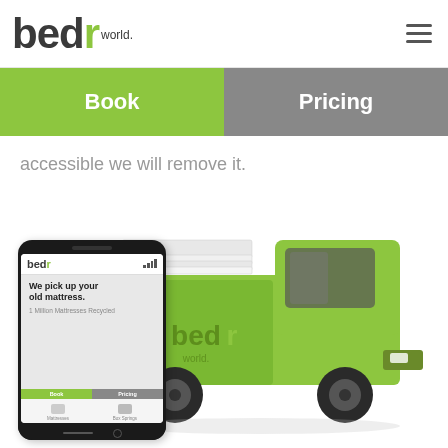bedr world.
Book
Pricing
accessible we will remove it.
[Figure (screenshot): Smartphone displaying the bedr world app showing 'We pick up your old mattress.' with Book and Pricing navigation tabs, alongside a lime-green pickup truck branded with 'bedr world' carrying a stack of white mattresses in the truck bed.]